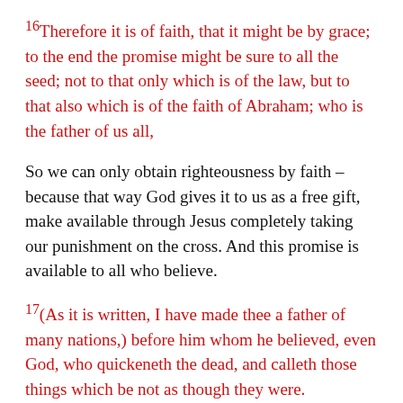16Therefore it is of faith, that it might be by grace; to the end the promise might be sure to all the seed; not to that only which is of the law, but to that also which is of the faith of Abraham; who is the father of us all,
So we can only obtain righteousness by faith – because that way God gives it to us as a free gift, make available through Jesus completely taking our punishment on the cross.  And this promise is available to all who believe.
17(As it is written, I have made thee a father of many nations,) before him whom he believed, even God, who quickeneth the dead, and calleth those things which be not as though they were.
This is such a powerful revelation of God.  God calls those things which be not as though they were: you